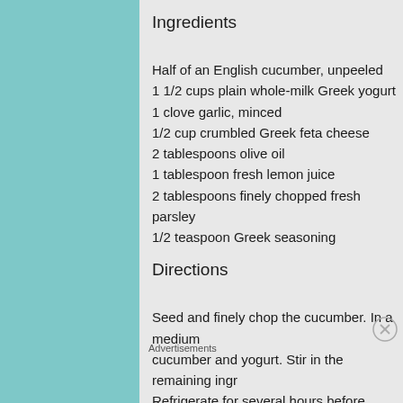Ingredients
Half of an English cucumber, unpeeled
1 1/2 cups plain whole-milk Greek yogurt
1 clove garlic, minced
1/2 cup crumbled Greek feta cheese
2 tablespoons olive oil
1 tablespoon fresh lemon juice
2 tablespoons finely chopped fresh parsley
1/2 teaspoon Greek seasoning
Directions
Seed and finely chop the cucumber. In a medium cucumber and yogurt. Stir in the remaining ingr Refrigerate for several hours before serving
Advertisements